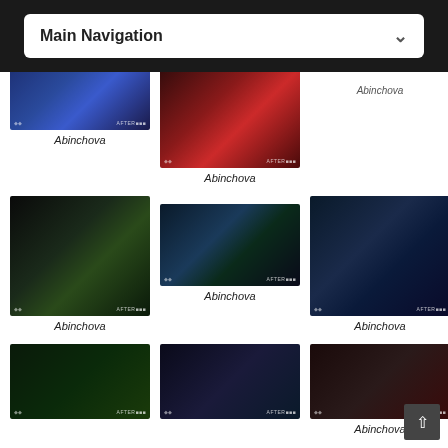Main Navigation
[Figure (photo): Concert photo - blue-lit performer with mask on stage, Abinchova]
Abinchova
[Figure (photo): Concert photo - red-lit stage with performers, Abinchova]
Abinchova
Abinchova
[Figure (photo): Concert photo - performer at keyboard in green light, Abinchova]
Abinchova
[Figure (photo): Concert photo - band on stage with guitars, Abinchova]
Abinchova
[Figure (photo): Concert photo - guitarist with dreadlocks playing guitar, Abinchova]
Abinchova
[Figure (photo): Concert photo - singer looking up with dark background, Abinchova]
[Figure (photo): Concert photo - singer with blue hair looking up, Abinchova]
[Figure (photo): Concert photo - crowd scene with red lighting, Abinchova]
Abinchova